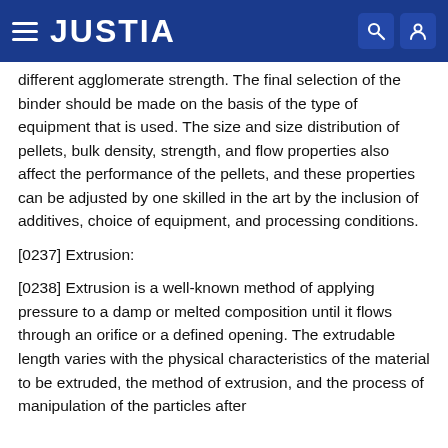JUSTIA
different agglomerate strength. The final selection of the binder should be made on the basis of the type of equipment that is used. The size and size distribution of pellets, bulk density, strength, and flow properties also affect the performance of the pellets, and these properties can be adjusted by one skilled in the art by the inclusion of additives, choice of equipment, and processing conditions.
[0237] Extrusion:
[0238] Extrusion is a well-known method of applying pressure to a damp or melted composition until it flows through an orifice or a defined opening. The extrudable length varies with the physical characteristics of the material to be extruded, the method of extrusion, and the process of manipulation of the particles after